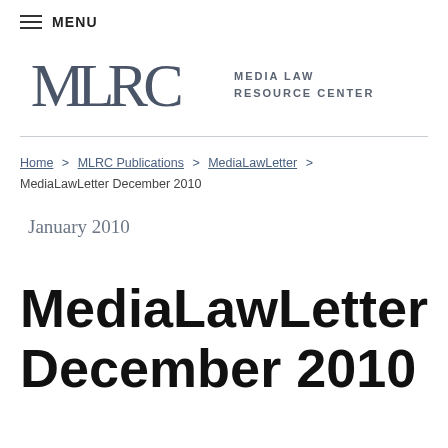≡ MENU
[Figure (logo): MLRC Media Law Resource Center logo with stylized MLRC lettering and text 'MEDIA LAW RESOURCE CENTER']
Home > MLRC Publications > MediaLawLetter > MediaLawLetter December 2010
January 2010
MediaLawLetter December 2010